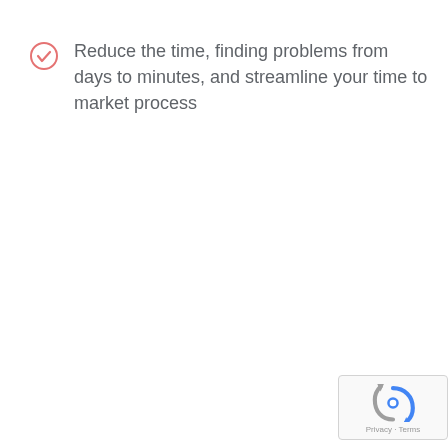Reduce the time, finding problems from days to minutes, and streamline your time to market process
[Figure (logo): reCAPTCHA badge with spinning arrow logo and Privacy - Terms text]